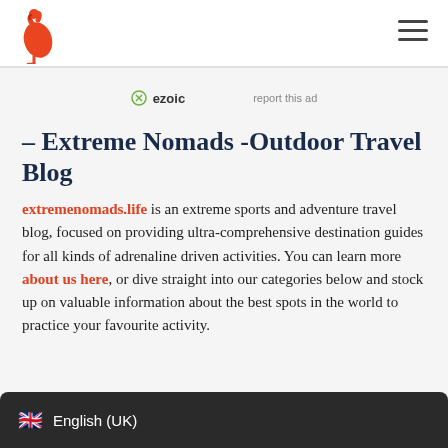Extreme Nomads logo and navigation
ezoic   report this ad
– Extreme Nomads -Outdoor Travel Blog
extremenomads.life is an extreme sports and adventure travel blog, focused on providing ultra-comprehensive destination guides for all kinds of adrenaline driven activities. You can learn more about us here, or dive straight into our categories below and stock up on valuable information about the best spots in the world to practice your favourite activity.
English (UK)